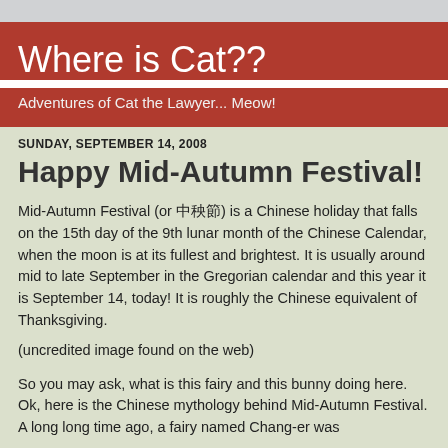Where is Cat??
Adventures of Cat the Lawyer... Meow!
SUNDAY, SEPTEMBER 14, 2008
Happy Mid-Autumn Festival!
Mid-Autumn Festival (or 中秋節) is a Chinese holiday that falls on the 15th day of the 9th lunar month of the Chinese Calendar, when the moon is at its fullest and brightest. It is usually around mid to late September in the Gregorian calendar and this year it is September 14, today! It is roughly the Chinese equivalent of Thanksgiving.
(uncredited image found on the web)
So you may ask, what is this fairy and this bunny doing here. Ok, here is the Chinese mythology behind Mid-Autumn Festival. A long long time ago, a fairy named Chang-er was